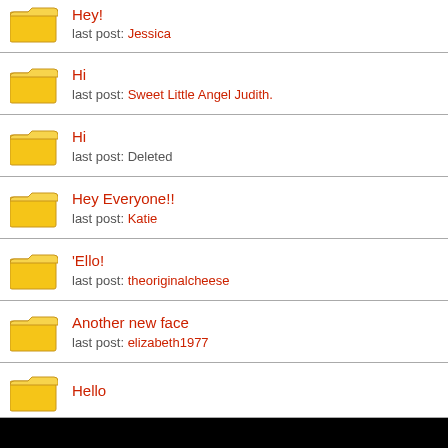Hey! last post: Jessica
Hi last post: Sweet Little Angel Judith.
Hi last post: Deleted
Hey Everyone!! last post: Katie
'Ello! last post: theoriginalcheese
Another new face last post: elizabeth1977
Hello